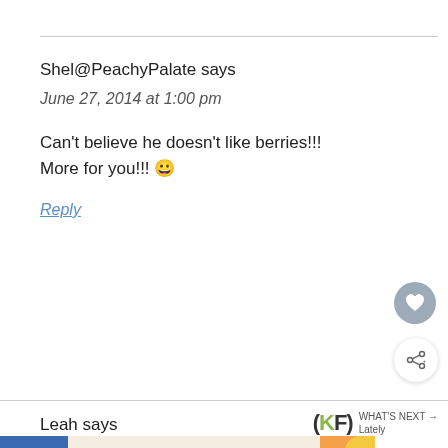Shel@PeachyPalate says
June 27, 2014 at 1:00 pm
Can't believe he doesn't like berries!!!
More for you!!! 😀
Reply
Leah says
[Figure (infographic): Advertisement banner reading TOGETHER, WE STAND with colorful shapes on left and right, close button, and WW logo on right]